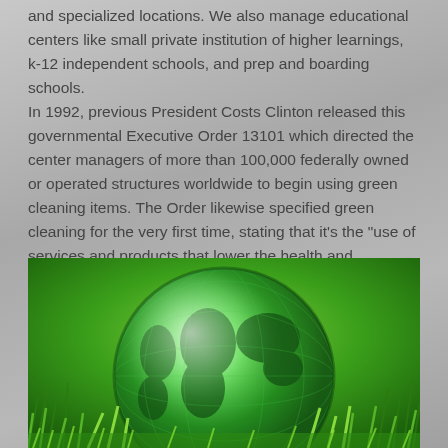and specialized locations. We also manage educational centers like small private institution of higher learnings, k-12 independent schools, and prep and boarding schools.
In 1992, previous President Costs Clinton released this governmental Executive Order 13101 which directed the center managers of more than 100,000 federally owned or operated structures worldwide to begin using green cleaning items. The Order likewise specified green cleaning for the very first time, stating that it's the "use of services and products that lower the health and environmental impacts compared to comparable products and services used for the exact same function."
[Figure (photo): A glass globe sitting in green grass, symbolizing green/environmental themes. The globe is transparent green-tinted glass showing continents, surrounded by vibrant green grass.]